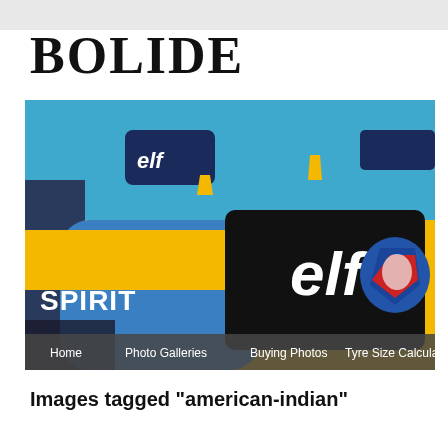BOLIDE
[Figure (photo): Close-up of blue and yellow Formula 1 racing cars showing 'elf' sponsor logos and 'SPIRIT' text on bodywork]
Home  Photo Galleries  Buying Photos  Tyre Size Calculator
Images tagged "american-indian"